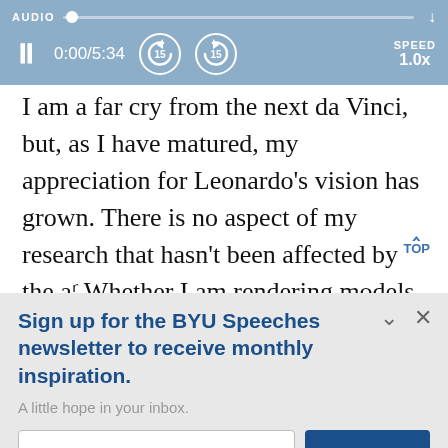AUDIO | 0:00/5:34 | SPEED 1.0x
I am a far cry from the next da Vinci, but, as I have matured, my appreciation for Leonardo’s vision has grown. There is no aspect of my research that hasn’t been affected by the a… Whether I am rendering models of organ…
Sign up for the BYU Speeches newsletter to receive monthly inspiration.
A little hope in your inbox.
Enter your email
SUBSCRIBE